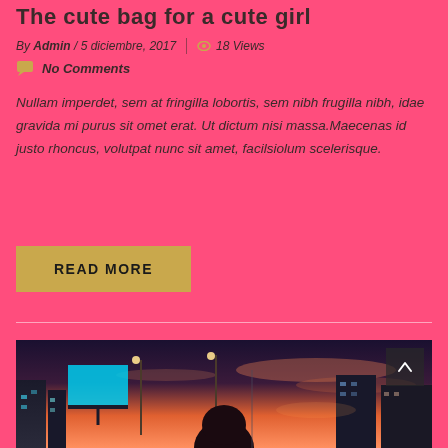The cute bag for a cute girl
By Admin / 5 diciembre, 2017   18 Views
No Comments
Nullam imperdet, sem at fringilla lobortis, sem nibh frugilla nibh, idae gravida mi purus sit omet erat. Ut dictum nisi massa.Maecenas id justo rhoncus, volutpat nunc sit amet, facilsiolum scelerisque.
READ MORE
[Figure (photo): Street scene at dusk/sunset with urban buildings, street lights, and a person with dark hair in the foreground. Pink and orange sky visible.]